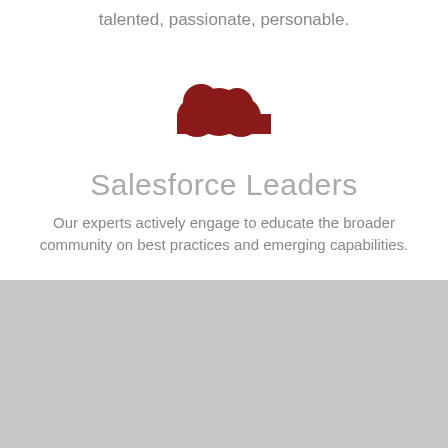talented, passionate, personable.
[Figure (illustration): Red cloud icon centered on white background]
Salesforce Leaders
Our experts actively engage to educate the broader community on best practices and emerging capabilities.
[Figure (illustration): Gray background section at the bottom of the page]